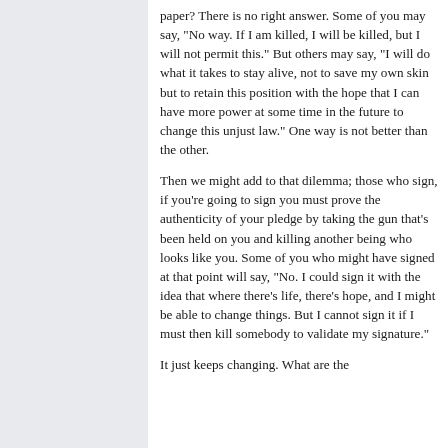paper? There is no right answer. Some of you may say, "No way. If I am killed, I will be killed, but I will not permit this." But others may say, "I will do what it takes to stay alive, not to save my own skin but to retain this position with the hope that I can have more power at some time in the future to change this unjust law." One way is not better than the other.
Then we might add to that dilemma; those who sign, if you're going to sign you must prove the authenticity of your pledge by taking the gun that's been held on you and killing another being who looks like you. Some of you who might have signed at that point will say, "No. I could sign it with the idea that where there's life, there's hope, and I might be able to change things. But I cannot sign it if I must then kill somebody to validate my signature."
It just keeps changing. What are the